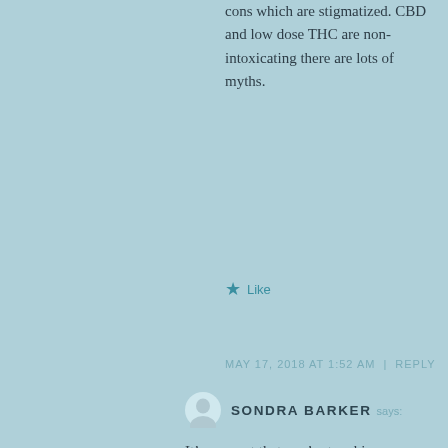cons which are stigmatized. CBD and low dose THC are non-intoxicating there are lots of myths.
Like
MAY 17, 2018 AT 1:52 AM | REPLY
SONDRA BARKER says:
It’s so great that you’re touching up on this topic! Of course people still have different opinions on marijuana, but hey if it works for patients why not use it right?
xo, Sondra
Cuisineandtravel.com